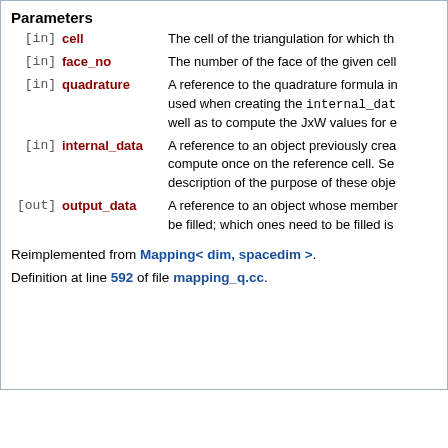Parameters
| direction | name | description |
| --- | --- | --- |
| [in] | cell | The cell of the triangulation for which th... |
| [in] | face_no | The number of the face of the given cell... |
| [in] | quadrature | A reference to the quadrature formula i... used when creating the internal_dat... well as to compute the JxW values for e... |
| [in] | internal_data | A reference to an object previously crea... compute once on the reference cell. Se... description of the purpose of these obje... |
| [out] | output_data | A reference to an object whose member... be filled; which ones need to be filled is... |
Reimplemented from Mapping< dim, spacedim >.
Definition at line 592 of file mapping_q.cc.
◆ fill_fe_face_values() [2/2]